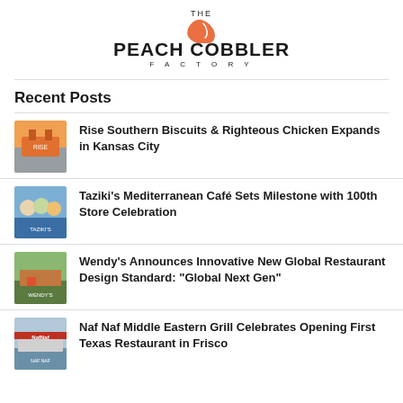[Figure (logo): The Peach Cobbler Factory logo with orange leaf/cobbler icon above bold text]
Recent Posts
[Figure (photo): Rise Southern Biscuits & Righteous Chicken restaurant exterior with orange branding]
Rise Southern Biscuits & Righteous Chicken Expands in Kansas City
[Figure (photo): Taziki's Mediterranean Café group photo of staff celebrating 100th store]
Taziki's Mediterranean Café Sets Milestone with 100th Store Celebration
[Figure (photo): Wendy's restaurant exterior showing new Global Next Gen design]
Wendy's Announces Innovative New Global Restaurant Design Standard: "Global Next Gen"
[Figure (photo): Naf Naf Middle Eastern Grill restaurant exterior with red signage]
Naf Naf Middle Eastern Grill Celebrates Opening First Texas Restaurant in Frisco